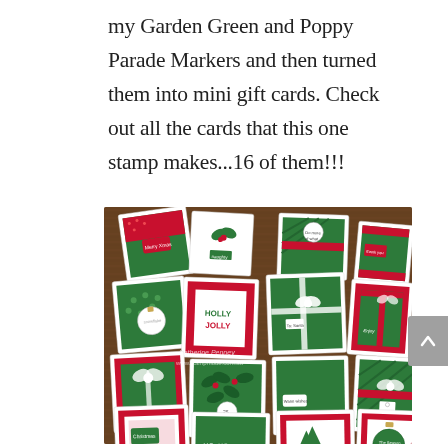my Garden Green and Poppy Parade Markers and then turned them into mini gift cards. Check out all the cards that this one stamp makes...16 of them!!!
[Figure (photo): A flat-lay photograph on a dark wooden surface showing 16 handmade mini Christmas gift cards arranged in a spread. Cards feature red and green color schemes with holiday decorations including holly, ornaments, bows, ribbons, and stamps with text like 'Holly Jolly', 'HO HO HO', 'YOU', and other Christmas sentiments. Watermark reads 'Katherine Penney www.stampmode.com.au'.]